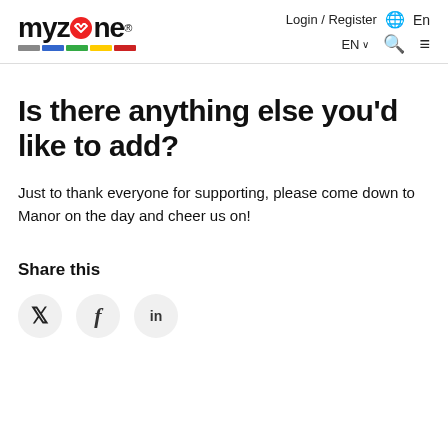myzone® Login / Register En EN ∨ 🔍 ≡
Is there anything else you'd like to add?
Just to thank everyone for supporting, please come down to Manor on the day and cheer us on!
Share this
[Figure (other): Social media share buttons: Twitter (bird icon), Facebook (f icon), LinkedIn (in icon) — circular grey buttons]